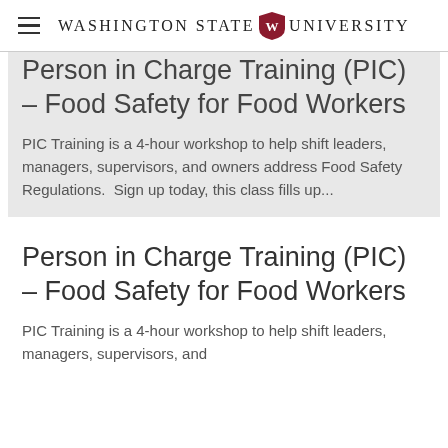Washington State University
Person in Charge Training (PIC) – Food Safety for Food Workers
PIC Training is a 4-hour workshop to help shift leaders, managers, supervisors, and owners address Food Safety Regulations.  Sign up today, this class fills up...
Person in Charge Training (PIC) – Food Safety for Food Workers
PIC Training is a 4-hour workshop to help shift leaders, managers, supervisors, and